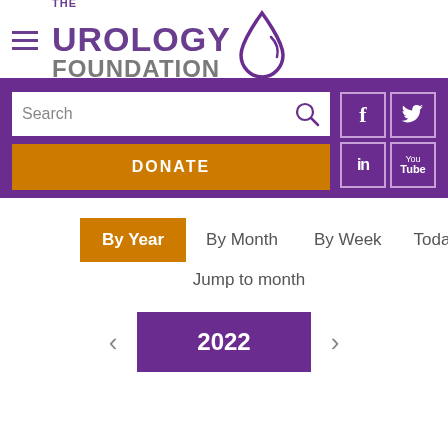[Figure (logo): The Urology Foundation logo with hamburger menu icon, purple text and droplet symbol]
[Figure (screenshot): Purple navigation bar with search box, orange DONATE button, and social media icons (Facebook, Twitter, LinkedIn, YouTube)]
By Year
By Month
By Week
Today
Jump to month
2022